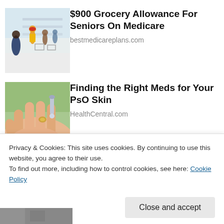[Figure (photo): People shopping in a grocery store aisle with shopping carts]
$900 Grocery Allowance For Seniors On Medicare
bestmedicareplans.com
[Figure (photo): Close-up of a hand with medicine being placed on palm]
Finding the Right Meds for Your PsO Skin
HealthCentral.com
Privacy & Cookies: This site uses cookies. By continuing to use this website, you agree to their use.
To find out more, including how to control cookies, see here: Cookie Policy
Close and accept